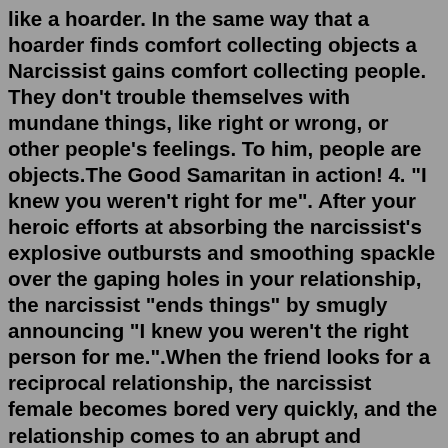like a hoarder. In the same way that a hoarder finds comfort collecting objects a Narcissist gains comfort collecting people. They don't trouble themselves with mundane things, like right or wrong, or other people's feelings. To him, people are objects.The Good Samaritan in action! 4. "I knew you weren't right for me". After your heroic efforts at absorbing the narcissist's explosive outbursts and smoothing spackle over the gaping holes in your relationship, the narcissist "ends things" by smugly announcing "I knew you weren't the right person for me.".When the friend looks for a reciprocal relationship, the narcissist female becomes bored very quickly, and the relationship comes to an abrupt and inexplicable end. The narcissistic female becomes cold, uninterested and remote, and the friendship is all but over to the bewilderment of the friend.Once a narcissist is done they will completely pull back from you. This may be in the form of outright ghosting your messages and calls, right through to not being available for you at all. If you live together they'll ignore your every...